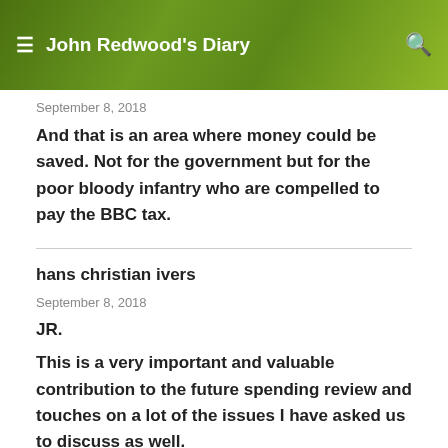John Redwood's Diary
September 8, 2018
And that is an area where money could be saved. Not for the government but for the poor bloody infantry who are compelled to pay the BBC tax.
hans christian ivers
September 8, 2018
JR.
This is a very important and valuable contribution to the future spending review and touches on a lot of the issues I have asked us to discuss as well.
The question is, whether the hypothesis is based on a false